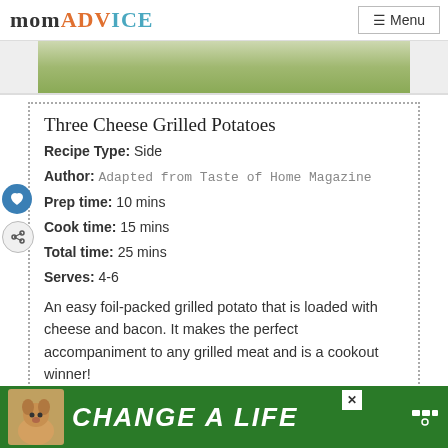momADVICE | Menu
[Figure (photo): Partial food photo showing grilled potatoes dish from above]
Three Cheese Grilled Potatoes
Recipe Type: Side
Author: Adapted from Taste of Home Magazine
Prep time: 10 mins
Cook time: 15 mins
Total time: 25 mins
Serves: 4-6
An easy foil-packed grilled potato that is loaded with cheese and bacon. It makes the perfect accompaniment to any grilled meat and is a cookout winner!
[Figure (photo): Advertisement banner: dog photo with text CHANGE A LIFE on green background]